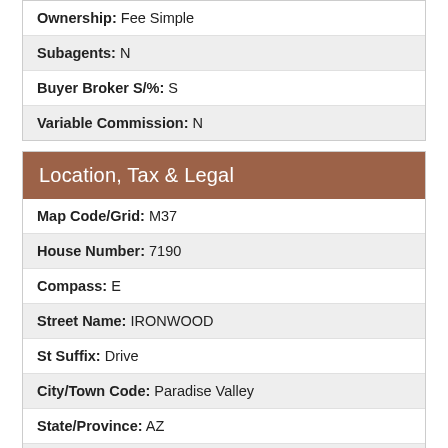| Ownership: Fee Simple |
| Subagents: N |
| Buyer Broker S/%: S |
| Variable Commission: N |
Location, Tax & Legal
| Map Code/Grid: M37 |
| House Number: 7190 |
| Compass: E |
| Street Name: IRONWOOD |
| St Suffix: Drive |
| City/Town Code: Paradise Valley |
| State/Province: AZ |
| Zip Code: 85253 |